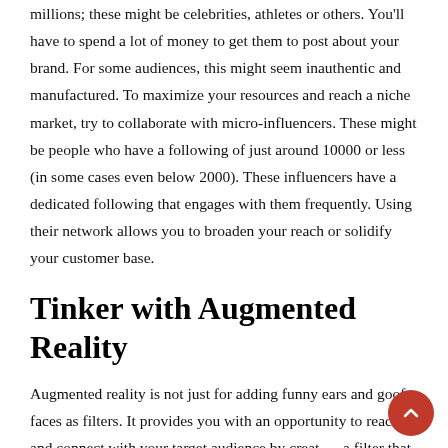millions; these might be celebrities, athletes or others. You'll have to spend a lot of money to get them to post about your brand. For some audiences, this might seem inauthentic and manufactured. To maximize your resources and reach a niche market, try to collaborate with micro-influencers. These might be people who have a following of just around 10000 or less (in some cases even below 2000). These influencers have a dedicated following that engages with them frequently. Using their network allows you to broaden your reach or solidify your customer base.
Tinker with Augmented Reality
Augmented reality is not just for adding funny ears and goofy faces as filters. It provides you with an opportunity to reach and connect with your target audience by creating a filter that allows them to imagine what they look like